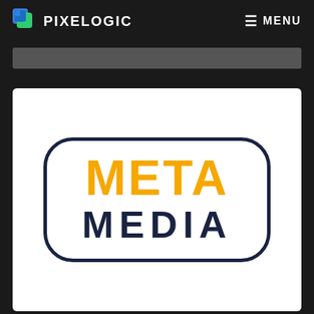PIXELOGIC  MENU
[Figure (logo): META MEDIA logo: rounded rectangle border in dark navy, with 'META' in large orange bold text and 'MEDIA' in dark navy bold text below]